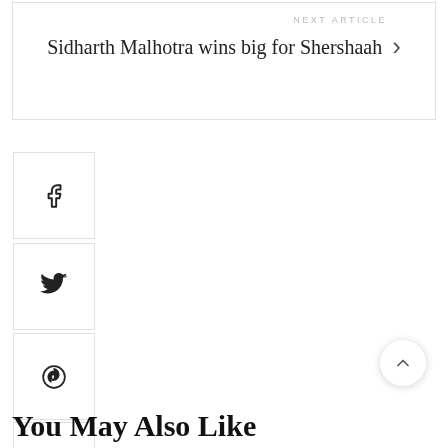NEXT ARTICLE
Sidharth Malhotra wins big for Shershaah
[Figure (other): Facebook share button icon]
[Figure (other): Twitter share button icon]
[Figure (other): Pinterest share button icon]
[Figure (other): WhatsApp share button icon]
[Figure (other): Comment button with badge showing 0]
[Figure (other): Back to top chevron button]
You May Also Like